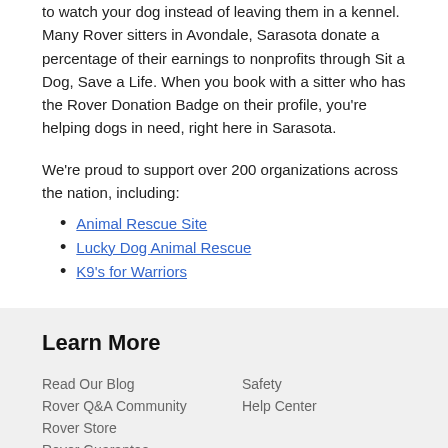to watch your dog instead of leaving them in a kennel. Many Rover sitters in Avondale, Sarasota donate a percentage of their earnings to nonprofits through Sit a Dog, Save a Life. When you book with a sitter who has the Rover Donation Badge on their profile, you're helping dogs in need, right here in Sarasota.
We're proud to support over 200 organizations across the nation, including:
Animal Rescue Site
Lucky Dog Animal Rescue
K9's for Warriors
Learn More
Read Our Blog
Rover Q&A Community
Rover Store
Rover Guarantee
Safety
Help Center
About Rover